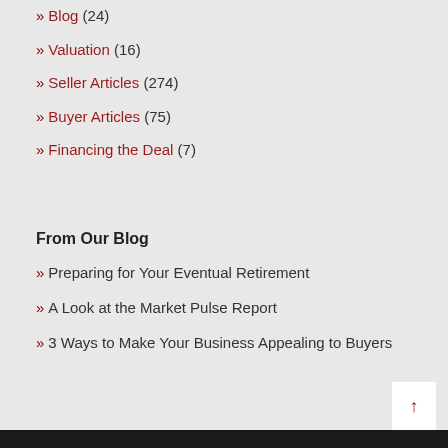» Blog (24)
» Valuation (16)
» Seller Articles (274)
» Buyer Articles (75)
» Financing the Deal (7)
From Our Blog
» Preparing for Your Eventual Retirement
» A Look at the Market Pulse Report
» 3 Ways to Make Your Business Appealing to Buyers